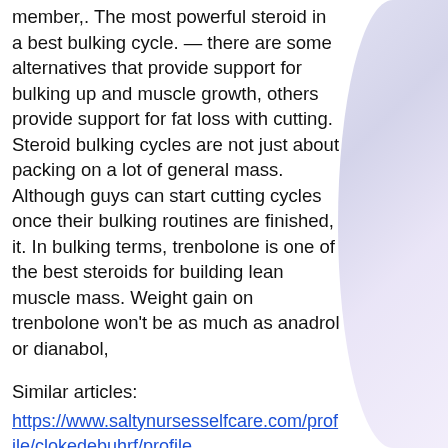member,. The most powerful steroid in a best bulking cycle. — there are some alternatives that provide support for bulking up and muscle growth, others provide support for fat loss with cutting. Steroid bulking cycles are not just about packing on a lot of general mass. Although guys can start cutting cycles once their bulking routines are finished, it. In bulking terms, trenbolone is one of the best steroids for building lean muscle mass. Weight gain on trenbolone won't be as much as anadrol or dianabol,
Similar articles:
https://www.saltynursesselfcare.com/profile/clokedebuhrf/profile
https://www.lifestyles.digital/profile/gronernaeglei/profile
https://www.endhumantraffickingmc.com/profile/kammerheiniga/profile
https://www.gullahgeecheefamilyfoundation.c...